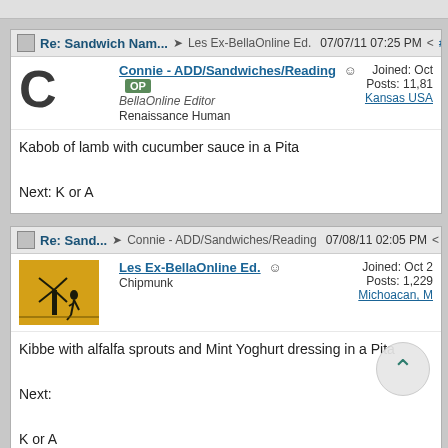Re: Sandwich Nam... → Les Ex-BellaOnline Ed. 07/07/11 07:25 PM < #7
Connie - ADD/Sandwiches/Reading OP
BellaOnline Editor
Renaissance Human
Joined: Oct
Posts: 11,81
Kansas USA
Kabob of lamb with cucumber sauce in a Pita

Next: K or A
Re: Sand... → Connie - ADD/Sandwiches/Reading 07/08/11 02:05 PM < #7
Les Ex-BellaOnline Ed.
Chipmunk
Joined: Oct 2
Posts: 1,229
Michoacan, M
Kibbe with alfalfa sprouts and Mint Yoghurt dressing in a Pita

Next:

K or A